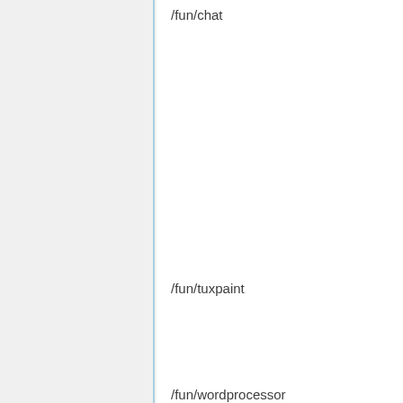/fun/chat
/fun/tuxpaint
/fun/wordprocessor